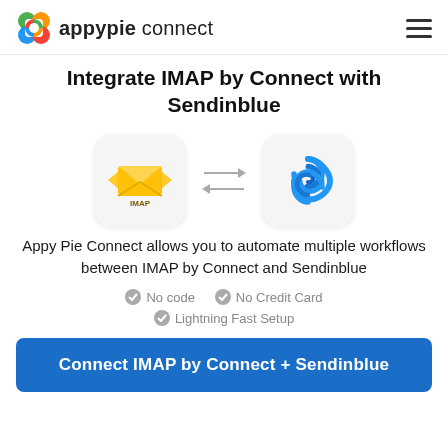appypie connect
Integrate IMAP by Connect with Sendinblue
[Figure (illustration): Two app icons side by side: IMAP (yellow envelope with wings) on the left and Sendinblue (blue swirl logo) on the right, connected by bidirectional arrows in the center.]
Appy Pie Connect allows you to automate multiple workflows between IMAP by Connect and Sendinblue
No code
No Credit Card
Lightning Fast Setup
Connect IMAP by Connect + Sendinblue